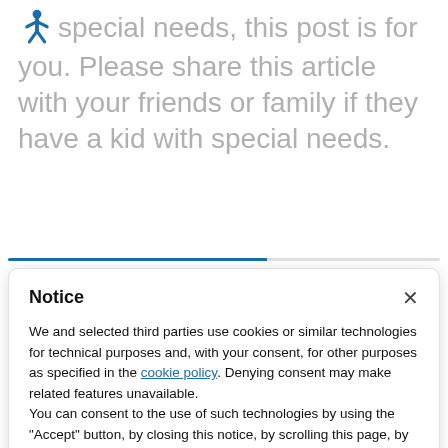special needs, this post is for you. Please share this article with your friends or family if they have a kid with special needs.
Notice
We and selected third parties use cookies or similar technologies for technical purposes and, with your consent, for other purposes as specified in the cookie policy. Denying consent may make related features unavailable.
You can consent to the use of such technologies by using the "Accept" button, by closing this notice, by scrolling this page, by interacting with any link or button outside of this notice or by continuing to browse otherwise.
Accept
Learn more and customize